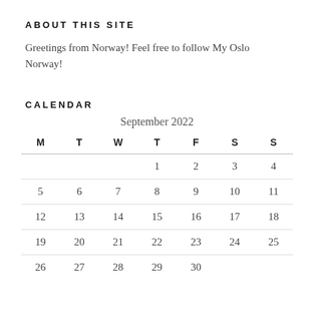ABOUT THIS SITE
Greetings from Norway! Feel free to follow My Oslo Norway!
CALENDAR
| M | T | W | T | F | S | S |
| --- | --- | --- | --- | --- | --- | --- |
|  |  |  | 1 | 2 | 3 | 4 |
| 5 | 6 | 7 | 8 | 9 | 10 | 11 |
| 12 | 13 | 14 | 15 | 16 | 17 | 18 |
| 19 | 20 | 21 | 22 | 23 | 24 | 25 |
| 26 | 27 | 28 | 29 | 30 |  |  |